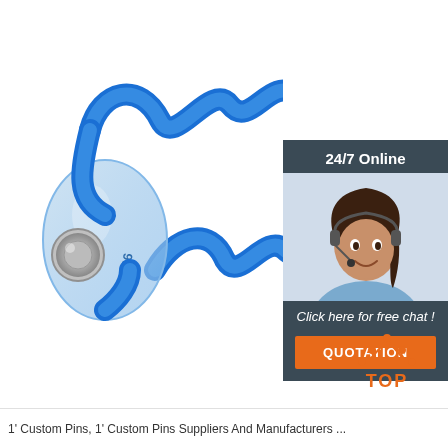[Figure (photo): Blue coiled wristband/seal with transparent plastic clasp and metallic snap button, number 1096 printed on it. Shown on white background.]
[Figure (photo): Customer service representative woman with headset smiling, with '24/7 Online' and 'Click here for free chat!' overlay, and orange QUOTATION button.]
[Figure (logo): TOP logo with orange dots arranged in a triangle above the word TOP in orange.]
1' Custom Pins, 1' Custom Pins Suppliers And Manufacturers ...